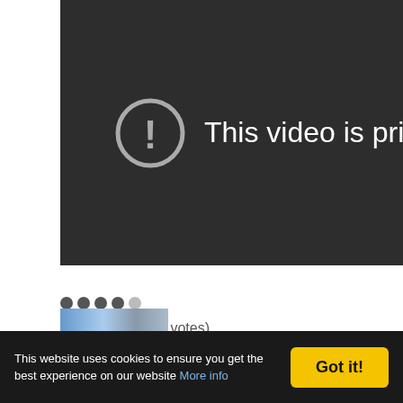[Figure (screenshot): Dark video player showing 'This video is private' message with an exclamation mark in a circle icon]
[Figure (other): Star/dot rating showing 4 filled dots and 1 empty dot]
Average: 3.8 (15 votes)
[Figure (screenshot): Partial thumbnail image at bottom]
This website uses cookies to ensure you get the best experience on our website More info
Got it!